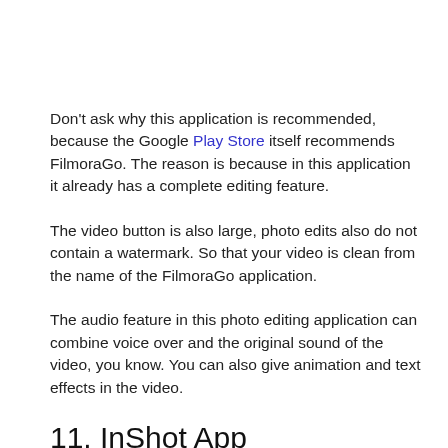Don't ask why this application is recommended, because the Google Play Store itself recommends FilmoraGo. The reason is because in this application it already has a complete editing feature.
The video button is also large, photo edits also do not contain a watermark. So that your video is clean from the name of the FilmoraGo application.
The audio feature in this photo editing application can combine voice over and the original sound of the video, you know. You can also give animation and text effects in the video.
11. InShot App